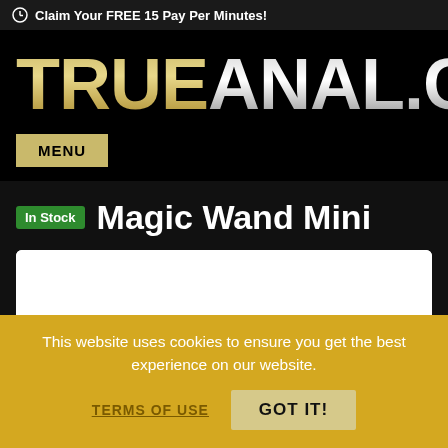Claim Your FREE 15 Pay Per Minutes!
TRUEANAL.COM
MENU
In Stock  Magic Wand Mini
[Figure (other): White product image area for Magic Wand Mini]
This website uses cookies to ensure you get the best experience on our website.
TERMS OF USE   GOT IT!